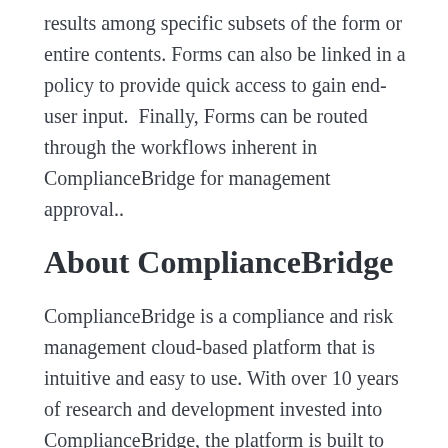results among specific subsets of the form or entire contents. Forms can also be linked in a policy to provide quick access to gain end-user input.  Finally, Forms can be routed through the workflows inherent in ComplianceBridge for management approval..
About ComplianceBridge
ComplianceBridge is a compliance and risk management cloud-based platform that is intuitive and easy to use. With over 10 years of research and development invested into ComplianceBridge, the platform is built to last. Using secure servers with redundant power supply and hard drives, SSL security, frequent local and remote backups, and encrypted data,